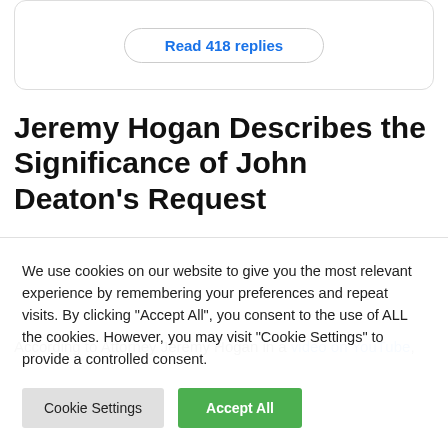Read 418 replies
Jeremy Hogan Describes the Significance of John Deaton’s Request
According to Attorney Jeremy Hogan in a video on YouTube,
We use cookies on our website to give you the most relevant experience by remembering your preferences and repeat visits. By clicking “Accept All”, you consent to the use of ALL the cookies. However, you may visit “Cookie Settings” to provide a controlled consent.
Cookie Settings
Accept All